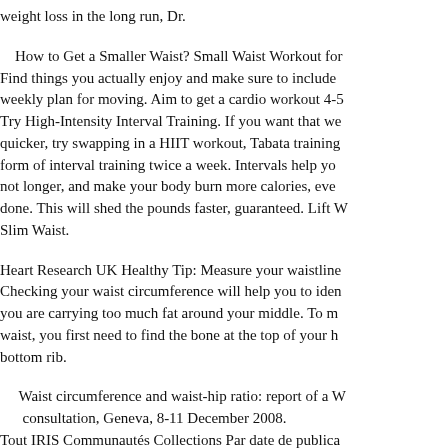weight loss in the long run, Dr.
How to Get a Smaller Waist? Small Waist Workout for Find things you actually enjoy and make sure to include weekly plan for moving. Aim to get a cardio workout 4-5 Try High-Intensity Interval Training. If you want that we quicker, try swapping in a HIIT workout, Tabata training form of interval training twice a week. Intervals help yo not longer, and make your body burn more calories, ever done. This will shed the pounds faster, guaranteed. Lift W Slim Waist.
Heart Research UK Healthy Tip: Measure your waistline Checking your waist circumference will help you to iden you are carrying too much fat around your middle. To m waist, you first need to find the bone at the top of your h bottom rib.
Waist circumference and waist-hip ratio: report of a W consultation, Geneva, 8-11 December 2008. Tout IRIS Communautés Collections Par date de publica Titres Sujets Cette collection Par date de publication Aut Sujets Publications de consultés Cé de publication